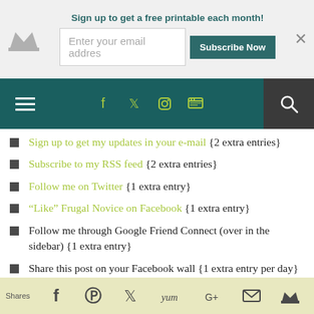[Figure (screenshot): Website signup bar with crown logo, email input field saying 'Enter your email addres', Subscribe Now button, and close X]
[Figure (screenshot): Navigation bar with hamburger menu, social icons (Facebook, Twitter, Instagram, RSS), and search icon]
Sign up to get my updates in your e-mail {2 extra entries}
Subscribe to my RSS feed {2 extra entries}
Follow me on Twitter {1 extra entry}
"Like" Frugal Novice on Facebook {1 extra entry}
Follow me through Google Friend Connect (over in the sidebar) {1 extra entry}
Share this post on your Facebook wall {1 extra entry per day}
Tweet about this giveaway on your
Shares  [social share icons]